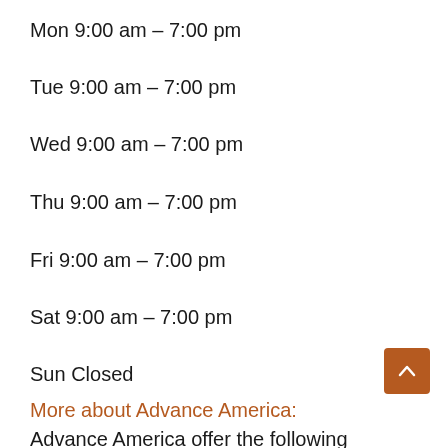Mon 9:00 am – 7:00 pm
Tue 9:00 am – 7:00 pm
Wed 9:00 am – 7:00 pm
Thu 9:00 am – 7:00 pm
Fri 9:00 am – 7:00 pm
Sat 9:00 am – 7:00 pm
Sun Closed
More about Advance America:
Advance America offer the following